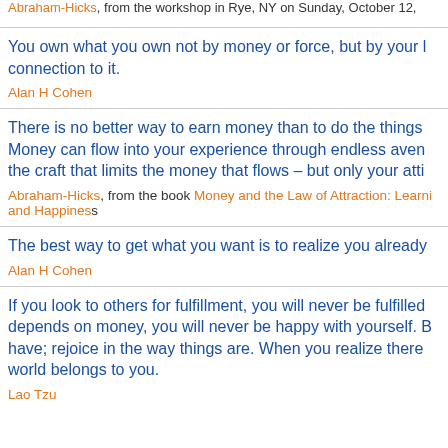Abraham-Hicks, from the workshop in Rye, NY on Sunday, October 12,
You own what you own not by money or force, but by your connection to it.
Alan H Cohen
There is no better way to earn money than to do the things you love. Money can flow into your experience through endless avenues... the craft that limits the money that flows – but only your atti...
Abraham-Hicks, from the book Money and the Law of Attraction: Learni... and Happiness
The best way to get what you want is to realize you already...
Alan H Cohen
If you look to others for fulfillment, you will never be fulfilled... depends on money, you will never be happy with yourself. B... have; rejoice in the way things are. When you realize there... world belongs to you.
Lao Tzu